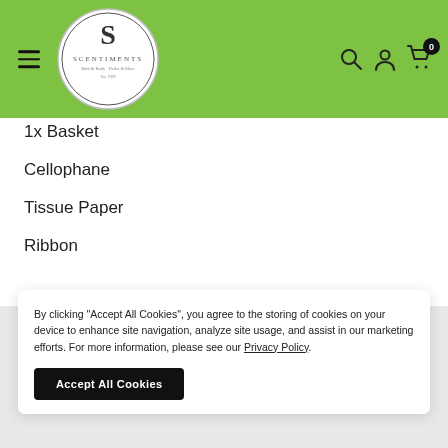[Figure (logo): Scentiments logo — circular badge with 'S' monogram and text 'Scentiments Bath & Body, Herbs & More, Est. 1999' on green header background]
1x Basket
Cellophane
Tissue Paper
Ribbon
By clicking "Accept All Cookies", you agree to the storing of cookies on your device to enhance site navigation, analyze site usage, and assist in our marketing efforts. For more information, please see our Privacy Policy.
Accept All Cookies